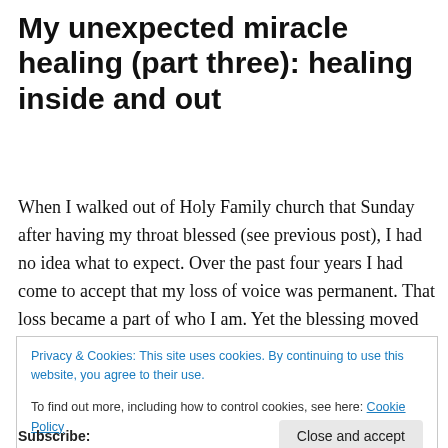My unexpected miracle healing (part three): healing inside and out
When I walked out of Holy Family church that Sunday after having my throat blessed (see previous post), I had no idea what to expect. Over the past four years I had come to accept that my loss of voice was permanent. That loss became a part of who I am. Yet the blessing moved me, especially … Continue reading →
Privacy & Cookies: This site uses cookies. By continuing to use this website, you agree to their use.
To find out more, including how to control cookies, see here: Cookie Policy
Close and accept
Subscribe: